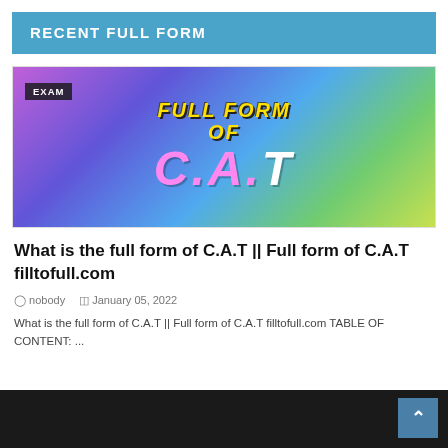RECENT FULL FORM
[Figure (illustration): Colorful gradient image with text 'FULL FORM OF C.A.T' featuring yellow outlined letters and pink/white decorative text on a purple-blue-green gradient background. An 'EXAM' badge is in the top-left corner.]
What is the full form of C.A.T || Full form of C.A.T filltofull.com
nobody   January 05, 2022
What is the full form of C.A.T || Full form of C.A.T filltofull.com TABLE OF CONTENT: ...